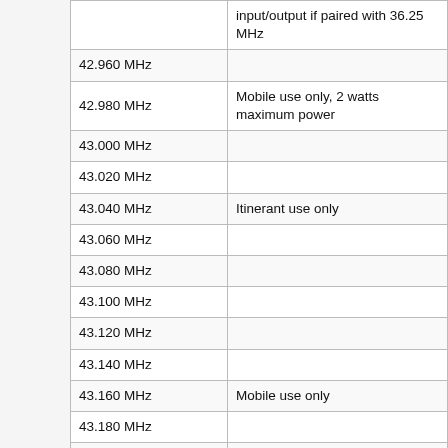| Frequency | Notes |
| --- | --- |
|  | input/output if paired with 36.25 MHz |
| 42.960 MHz |  |
| 42.980 MHz | Mobile use only, 2 watts maximum power |
| 43.000 MHz |  |
| 43.020 MHz |  |
| 43.040 MHz | Itinerant use only |
| 43.060 MHz |  |
| 43.080 MHz |  |
| 43.100 MHz |  |
| 43.120 MHz |  |
| 43.140 MHz |  |
| 43.160 MHz | Mobile use only |
| 43.180 MHz |  |
| 43.260 MHz | Old IMTS Mobile Channel ZO (paired with 35.26 MHz) |
| 43.280 MHz |  |
| 43.300 MHz | Old IMTS Mobile Channel ZF |